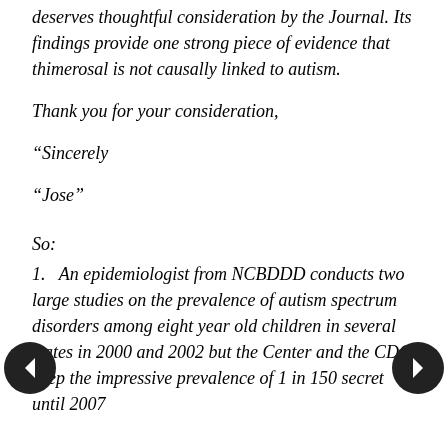deserves thoughtful consideration by the Journal. Its findings provide one strong piece of evidence that thimerosal is not causally linked to autism.
Thank you for your consideration,
“Sincerely
“Jose”
So:
1.   An epidemiologist from NCBDDD conducts two large studies on the prevalence of autism spectrum disorders among eight year old children in several states in 2000 and 2002 but the Center and the CDC keep the impressive prevalence of 1 in 150 secret until 2007